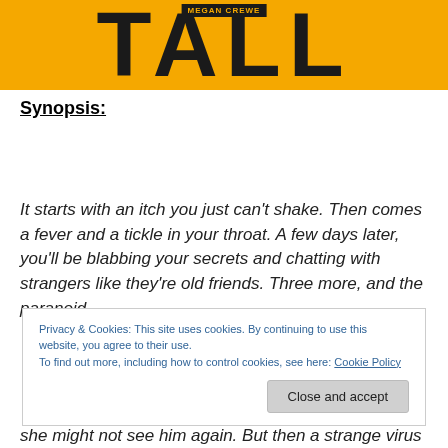[Figure (illustration): Book cover for 'TALL' by Megan Crewe on a yellow/gold background with large bold black lettering]
Synopsis:
It starts with an itch you just can't shake. Then comes a fever and a tickle in your throat. A few days later, you'll be blabbing your secrets and chatting with strangers like they're old friends. Three more, and the paranoid
Privacy & Cookies: This site uses cookies. By continuing to use this website, you agree to their use.
To find out more, including how to control cookies, see here: Cookie Policy
Close and accept
she might not see him again. But then a strange virus